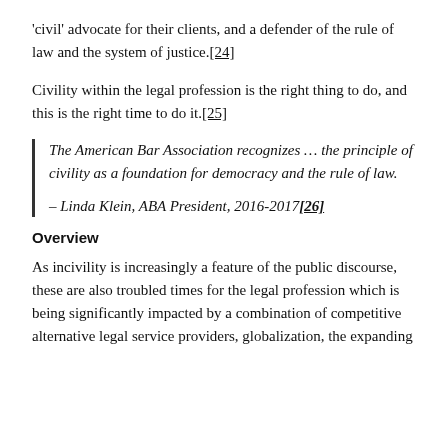'civil' advocate for their clients, and a defender of the rule of law and the system of justice.[24]
Civility within the legal profession is the right thing to do, and this is the right time to do it.[25]
The American Bar Association recognizes … the principle of civility as a foundation for democracy and the rule of law.
– Linda Klein, ABA President, 2016-2017[26]
Overview
As incivility is increasingly a feature of the public discourse, these are also troubled times for the legal profession which is being significantly impacted by a combination of competitive alternative legal service providers, globalization, the expanding